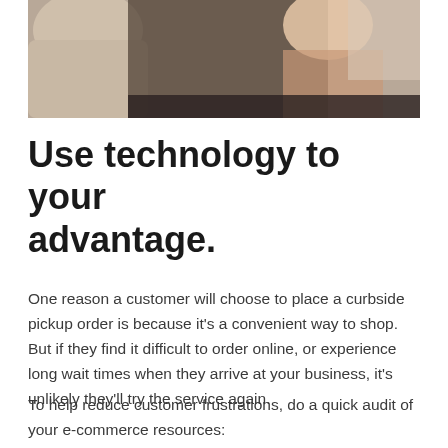[Figure (photo): Photo of a person inside a car, viewed from the back seat area, showing interior car upholstery and a person in the front seat area]
Use technology to your advantage.
One reason a customer will choose to place a curbside pickup order is because it's a convenient way to shop. But if they find it difficult to order online, or experience long wait times when they arrive at your business, it's unlikely they'll try the service again.
To help reduce customer frustrations, do a quick audit of your e-commerce resources: